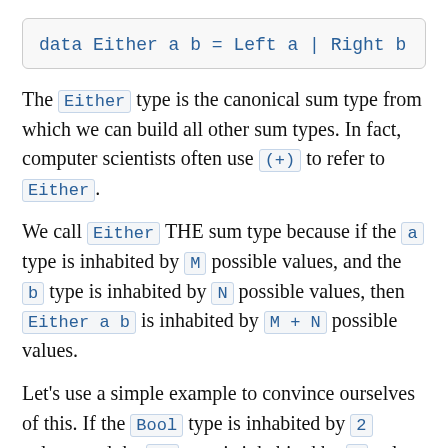The Either type is the canonical sum type from which we can build all other sum types. In fact, computer scientists often use (+) to refer to Either.
We call Either THE sum type because if the a type is inhabited by M possible values, and the b type is inhabited by N possible values, then Either a b is inhabited by M + N possible values.
Let's use a simple example to convince ourselves of this. If the Bool type is inhabited by 2 values, and the () type is inhabited by 1 value, then the Either Bool () type must be inhabited by 2 + 1 = 3 values: